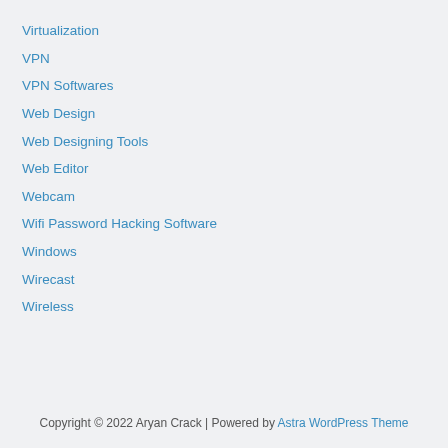Virtualization
VPN
VPN Softwares
Web Design
Web Designing Tools
Web Editor
Webcam
Wifi Password Hacking Software
Windows
Wirecast
Wireless
Copyright © 2022 Aryan Crack | Powered by Astra WordPress Theme